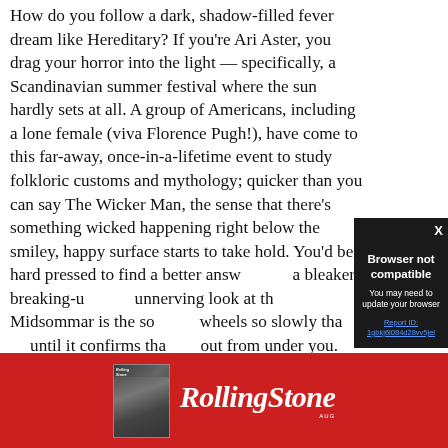How do you follow a dark, shadow-filled fever dream like Hereditary? If you're Ari Aster, you drag your horror into the light — specifically, a Scandinavian summer festival where the sun hardly sets at all. A group of Americans, including a lone female (viva Florence Pugh!), have come to this far-away, once-in-a-lifetime event to study folkloric customs and mythology; quicker than you can say The Wicker Man, the sense that there's something wicked happening right below the smiley, happy surface starts to take hold. You'd be hard pressed to find a better answ… a bleaker breaking-u… unnerving look at th… Midsommar is the so… wheels so slowly tha… until it confirms tha… out from under you.
[Figure (screenshot): Dark modal popup overlay with 'Browser not compatible' title, subtitle 'You may need to update your browser', a report ID link, and an X close button.]
[Figure (logo): Rolling Stone magazine advertisement banner with red background, magazine thumbnail on left, and Rolling Stone logo text in white italic script.]